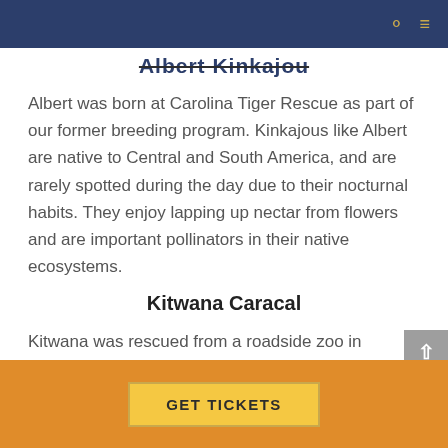Albert Kinkajou
Albert was born at Carolina Tiger Rescue as part of our former breeding program. Kinkajous like Albert are native to Central and South America, and are rarely spotted during the day due to their nocturnal habits. They enjoy lapping up nectar from flowers and are important pollinators in their native ecosystems.
Kitwana Caracal
Kitwana was rescued from a roadside zoo in Colorado, along with 15 other
GET TICKETS